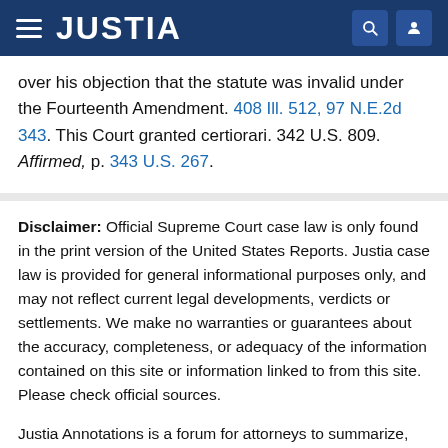JUSTIA
over his objection that the statute was invalid under the Fourteenth Amendment. 408 Ill. 512, 97 N.E.2d 343. This Court granted certiorari. 342 U.S. 809. Affirmed, p. 343 U.S. 267.
Disclaimer: Official Supreme Court case law is only found in the print version of the United States Reports. Justia case law is provided for general informational purposes only, and may not reflect current legal developments, verdicts or settlements. We make no warranties or guarantees about the accuracy, completeness, or adequacy of the information contained on this site or information linked to from this site. Please check official sources.
Justia Annotations is a forum for attorneys to summarize, comment on, and analyze case law published on our site. Justia